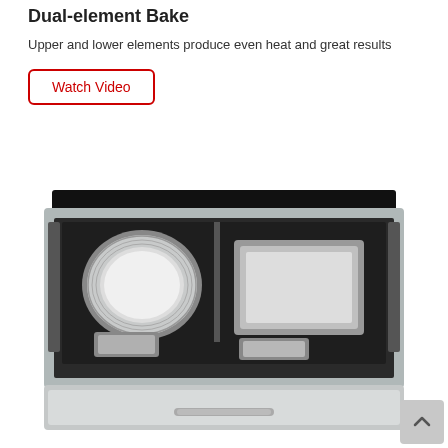Dual-element Bake
Upper and lower elements produce even heat and great results
Watch Video
[Figure (photo): Open drawer oven with baking pans inside — a round pie pan and rectangular loaf pans visible in the open stainless steel drawer, with a black glass top panel.]